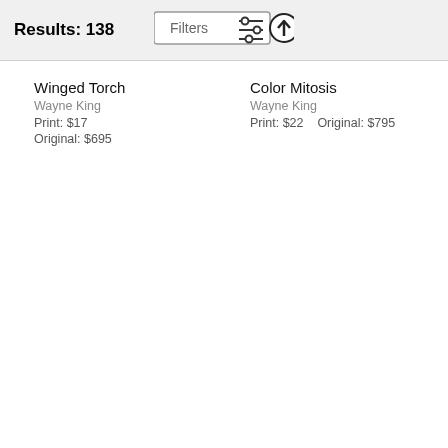Results: 138
[Figure (screenshot): Filters button with sliders icon and up-arrow circle button in header bar]
Winged Torch
Wayne King
Print: $17
Original: $695
Color Mitosis
Wayne King
Print: $22   Original: $795